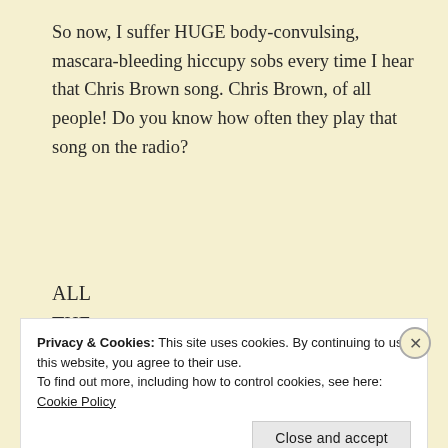So now, I suffer HUGE body-convulsing, mascara-bleeding hiccupy sobs every time I hear that Chris Brown song. Chris Brown, of all people! Do you know how often they play that song on the radio?
ALL
THE
TIME
Dear Jesus, I'm tearing up a little bit right now. Stupid
Privacy & Cookies: This site uses cookies. By continuing to use this website, you agree to their use.
To find out more, including how to control cookies, see here: Cookie Policy